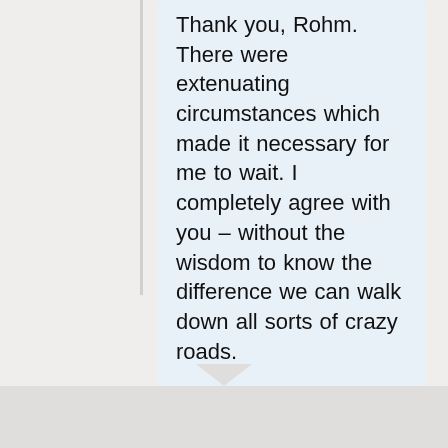Thank you, Rohm. There were extenuating circumstances which made it necessary for me to wait. I completely agree with you – without the wisdom to know the difference we can walk down all sorts of crazy roads.